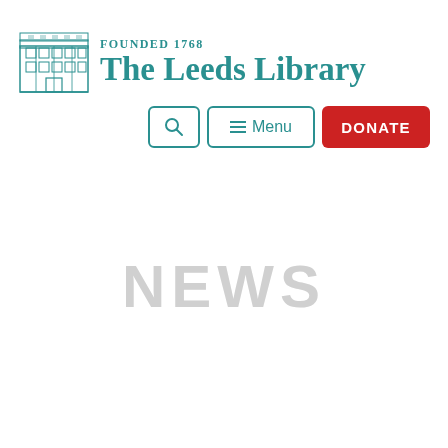[Figure (logo): The Leeds Library logo: a teal illustration of a classical building facade (library exterior) on the left, with text 'Founded 1768' above and 'The Leeds Library' in large serif font to the right, all in teal color.]
[Figure (other): Navigation bar with three buttons: a search icon button (magnifying glass), a hamburger menu button labeled 'Menu', and a red DONATE button.]
NEWS